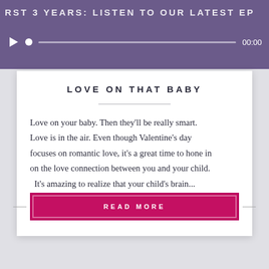RST 3 YEARS: LISTEN TO OUR LATEST EP
LOVE ON THAT BABY
Love on your baby. Then they'll be really smart. Love is in the air. Even though Valentine's day focuses on romantic love, it's a great time to hone in on the love connection between you and your child. It's amazing to realize that your child's brain...
READ MORE